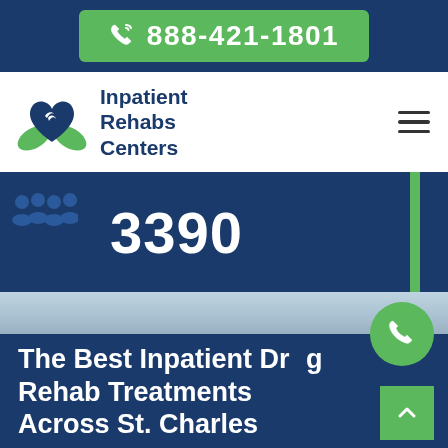888-421-1801
[Figure (logo): Inpatient Rehabs Centers logo with green hands cradling a blue heart]
Inpatient Rehabs Centers
3390
[Figure (photo): Hospital corridor floor, blurred background with blue tones]
The Best Inpatient Drug Rehab Treatments Across St. Charles